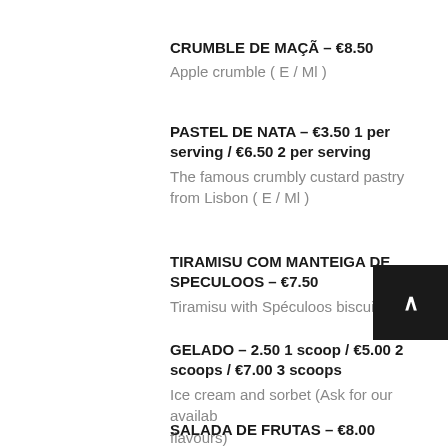CRUMBLE DE MAÇÃ – €8.50
Apple crumble ( E / Ml )
PASTEL DE NATA – €3.50 1 per serving / €6.50 2 per serving
The famous crumbly custard pastry from Lisbon ( E / Ml )
TIRAMISU COM MANTEIGA DE SPECULOOS – €7.50
Tiramisu with Spéculoos biscuit butter
GELADO – 2.50 1 scoop / €5.00 2 scoops / €7.00 3 scoops
Ice cream and sorbet (Ask for our available flavours)
SALADA DE FRUTAS – €8.00